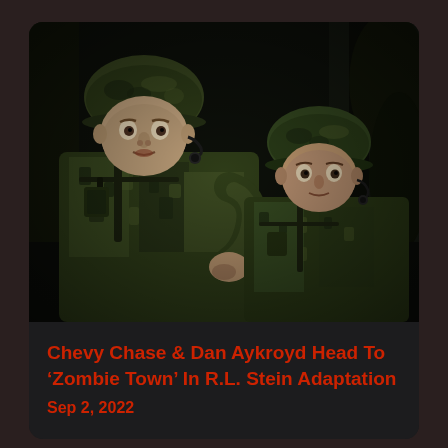[Figure (photo): Two men dressed in military camouflage uniforms and helmets with headset microphones, standing in a dark wooded setting, looking alert or surprised.]
Chevy Chase & Dan Aykroyd Head To 'Zombie Town' In R.L. Stein Adaptation
Sep 2, 2022